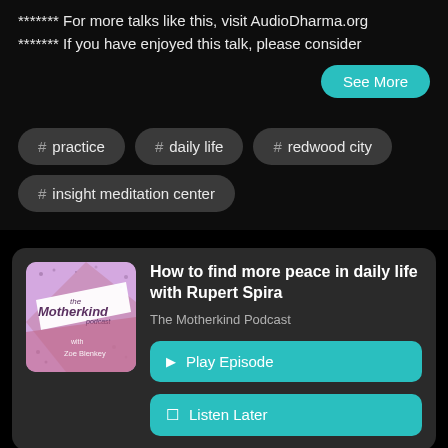******* For more talks like this, visit AudioDharma.org
******* If you have enjoyed this talk, please consider
See More
# practice
# daily life
# redwood city
# insight meditation center
How to find more peace in daily life with Rupert Spira
The Motherkind Podcast
▶ Play Episode
☐ Listen Later